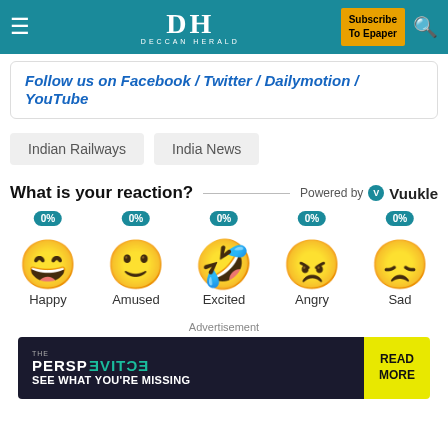DH DECCAN HERALD | Subscribe To Epaper
Follow us on Facebook | Twitter | Dailymotion | YouTube
Indian Railways
India News
What is your reaction? Powered by Vuukle
[Figure (infographic): Five emoji reaction buttons: Happy 0%, Amused 0%, Excited 0%, Angry 0%, Sad 0%]
Advertisement
[Figure (screenshot): Advertisement banner: THE PERSPECTIVE - SEE WHAT YOU'RE MISSING | READ MORE]